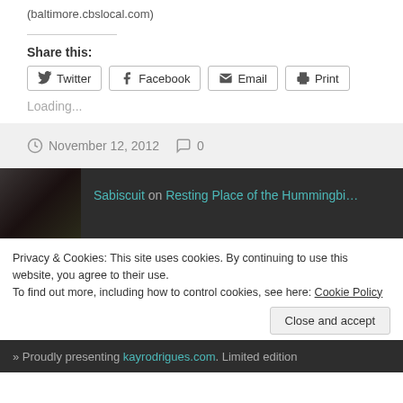(baltimore.cbslocal.com)
Share this:
Twitter  Facebook  Email  Print
Loading...
November 12, 2012   0
Sabiscuit on Resting Place of the Hummingbi...
Privacy & Cookies: This site uses cookies. By continuing to use this website, you agree to their use.
To find out more, including how to control cookies, see here: Cookie Policy
Close and accept
» Proudly presenting kayrodrigues.com. Limited edition